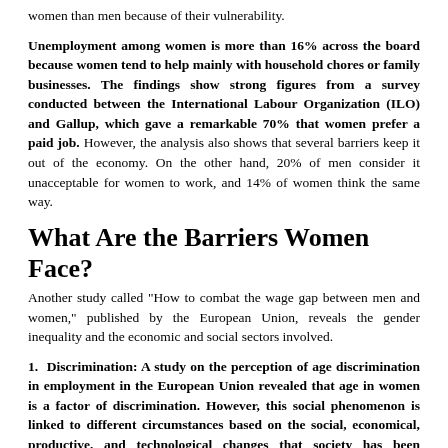women than men because of their vulnerability.
Unemployment among women is more than 16% across the board because women tend to help mainly with household chores or family businesses. The findings show strong figures from a survey conducted between the International Labour Organization (ILO) and Gallup, which gave a remarkable 70% that women prefer a paid job. However, the analysis also shows that several barriers keep it out of the economy. On the other hand, 20% of men consider it unacceptable for women to work, and 14% of women think the same way.
What Are the Barriers Women Face?
Another study called "How to combat the wage gap between men and women," published by the European Union, reveals the gender inequality and the economic and social sectors involved.
1. Discrimination: A study on the perception of age discrimination in employment in the European Union revealed that age in women is a factor of discrimination. However, this social phenomenon is linked to different circumstances based on the social, economical, productive, and technological changes that society has been experiencing in recent years. In addition,